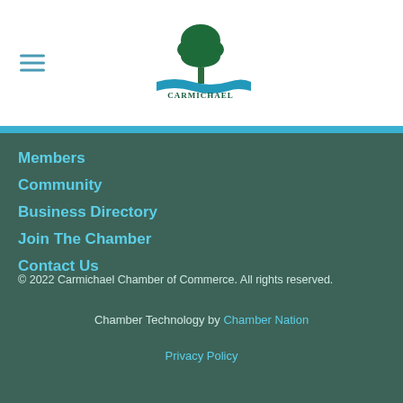[Figure (logo): Carmichael Chamber of Commerce logo with a green tree and water/landscape design]
Members
Community
Business Directory
Join The Chamber
Contact Us
© 2022 Carmichael Chamber of Commerce. All rights reserved.
Chamber Technology by Chamber Nation
Privacy Policy